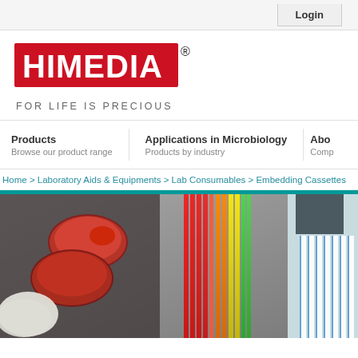Login
[Figure (logo): HiMedia logo — red rectangle with white text HIMEDIA and registered trademark symbol, tagline FOR LIFE IS PRECIOUS below]
FOR LIFE IS PRECIOUS
Products
Browse our product range
Applications in Microbiology
Products by industry
Abo
Comp
Home > Laboratory Aids & Equipments > Lab Consumables > Embedding Cassettes
[Figure (photo): Laboratory banner image showing gloved hands working with red blood culture petri dishes on the left, and colorful multichannel pipette tips (red, orange, yellow, green) in the center, and a HiMedia TufPette Autoclavable multichannel pipette on the right side with blue and white pipette tips]